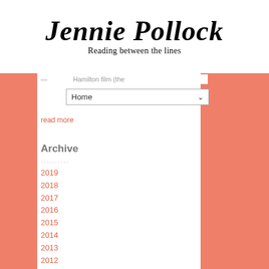Jennie Pollock — Reading between the lines
Hamilton film (the
Home
read more
Archive
..........
2019
2018
2017
2016
2015
2014
2013
2012
2011
2010